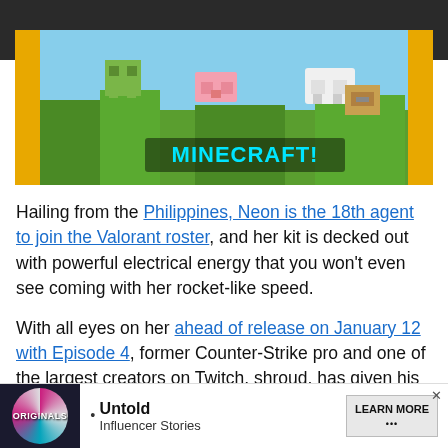[Figure (screenshot): Minecraft game screenshot with colorful blocky animals (pig, sheep, character) on green landscape with yellow border background and 'MINECRAFT!' text label in cyan]
Hailing from the Philippines, Neon is the 18th agent to join the Valorant roster, and her kit is decked out with powerful electrical energy that you won't even see coming with her rocket-like speed.
With all eyes on her ahead of release on January 12 with Episode 4, former Counter-Strike pro and one of the largest creators on Twitch, shroud, has given his thoughts... it into th...
[Figure (screenshot): Advertisement bar showing Originals logo with spinning graphic, 'Untold Influencer Stories' text, and 'LEARN MORE' button]